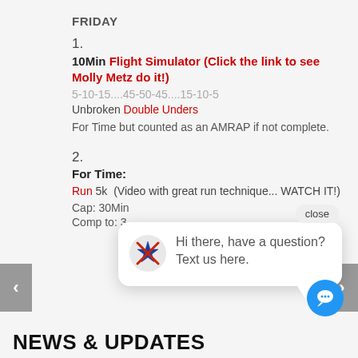FRIDAY
1.
10Min Flight Simulator (Click the link to see Molly Metz do it!)
5-10-15....45-50-45....15-10-5
Unbroken Double Unders
For Time but counted as an AMRAP if not complete.
2.
For Time:
Run 5k  (Video with great run technique... WATCH IT!)
Cap: 30Min
Comp to: 3.
[Figure (screenshot): Chat popup with logo showing 'Hi there, have a question? Text us here.' with close button]
NEWS & UPDATES